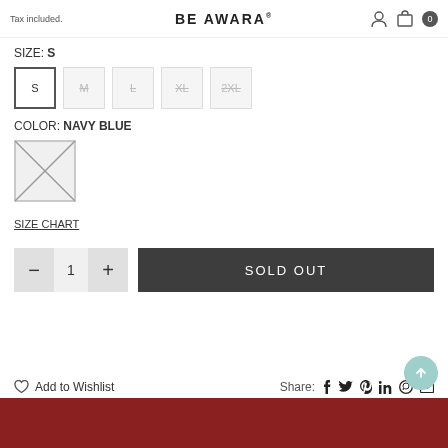Tax included. BE AWARA
SIZE: S
S  M  L  XL  2XL
COLOR: NAVY BLUE
[Figure (illustration): Color swatch placeholder box with X diagonal lines indicating image not loaded]
SIZE CHART
- 1 +  SOLD OUT
Add to Wishlist
Share: f  t  p  in  w  mail